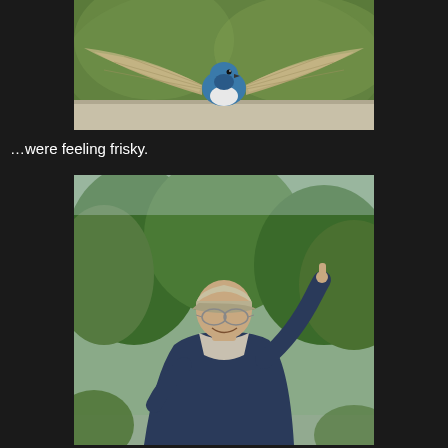[Figure (photo): A blue bird with wings spread wide, perched on a surface, with green blurred background]
…were feeling frisky.
[Figure (photo): A man wearing a cap and glasses, smiling, pointing upward with one finger, outdoors with green trees in background]